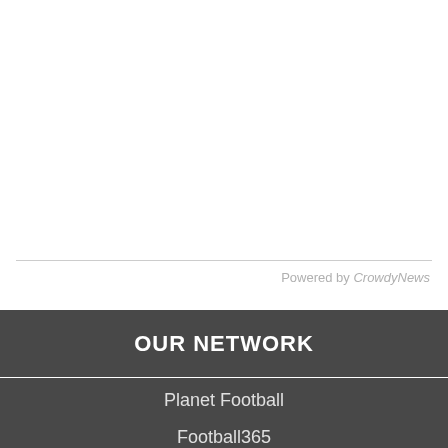Powered by CrowdyNews
OUR NETWORK
Planet Football
Football365
TEAMtalk
Planet F1